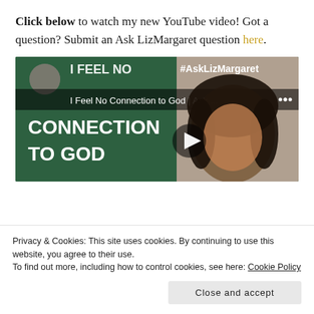Click below to watch my new YouTube video! Got a question? Submit an Ask LizMargaret question here.
[Figure (screenshot): YouTube video thumbnail showing a woman and text 'CONNECTION TO GOD', '#AskLizMargaret', 'I Feel No Connection to God | Ask ...' with a play button overlay]
Privacy & Cookies: This site uses cookies. By continuing to use this website, you agree to their use.
To find out more, including how to control cookies, see here: Cookie Policy
Close and accept